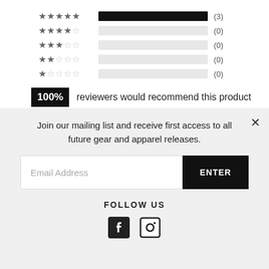[Figure (infographic): Star rating breakdown: 5 stars with full black bar (3), 4 stars with empty bar (0), 3 stars with empty bar (0), 2 stars with empty bar (0), 1 star with empty bar (0)]
100% reviewers would recommend this product
✎ Write a Review
Join our mailing list and receive first access to all future gear and apparel releases.
Email Address
ENTER
FOLLOW US
[Figure (infographic): Facebook and Instagram social media icons]